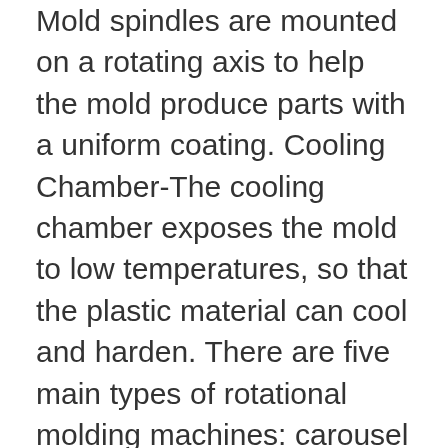Mold spindles are mounted on a rotating axis to help the mold produce parts with a uniform coating. Cooling Chamber-The cooling chamber exposes the mold to low temperatures, so that the plastic material can cool and harden. There are five main types of rotational molding machines: carousel types, clamshell types, rock and roll types, vertical types and shuttle types. Carousel Type Carousel rotomolders are the most common type of bi-axial rotomolding machine. They can have either four or six stations. Their arms work together in such a way that they can perform several tasks at once. For example, if one arm remains in the heating station, another will go to the cooling station, while still another w... See full list on plasticmoldingmanufacturers.com Processes similar to rotational molding include: blow molding, injection